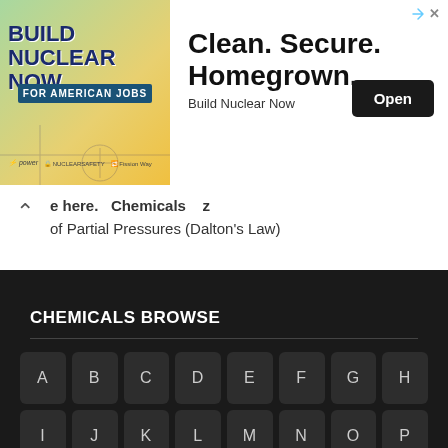[Figure (other): Advertisement banner for 'Build Nuclear Now' campaign. Left side has colorful graphic with text 'BUILD NUCLEAR NOW FOR AMERICAN JOBS'. Right side reads 'Clean. Secure. Homegrown.' with an 'Open' button and 'Build Nuclear Now' brand name.]
← Chemicals  …of Partial Pressures (Dalton's Law)
CHEMICALS BROWSE
A B C D E F G H I J K L M N O P Q R S T U V W X